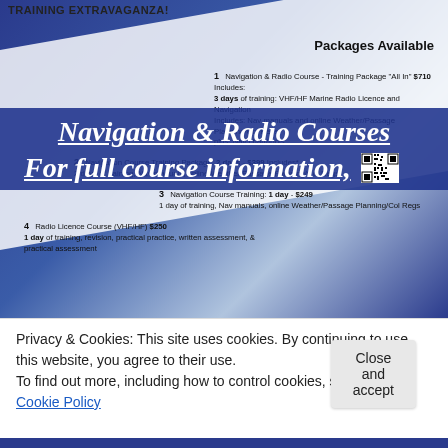TRAINING EXTRAVAGANZA!
Packages Available
1 Navigation & Radio Course - Training Package "All In" $710 Includes: 3 days of training: VHF/HF Marine Radio Licence and Navigation Includes: Nav manuals and online Weather/Passage Planning/Col Regs, plus, Nav chart/tools
2 Navigation Course Training Package: 2 days - $399 Includes* 2 days of training, Nav manuals, online Weather/Passage Planning/Col Regs
3 Navigation Course Training: 1 day - $249 1 day of training, Nav manuals, online Weather/Passage Planning/Col Regs
4 Radio Licence Course (VHF/HF) $250 1 day of training, revision, practical practice, written assessment, & practical assessment
Navigation & Radio Courses
For full course information,
[Figure (other): QR code for full course information]
Privacy & Cookies: This site uses cookies. By continuing to use this website, you agree to their use.
To find out more, including how to control cookies, see here: Cookie Policy
Close and accept